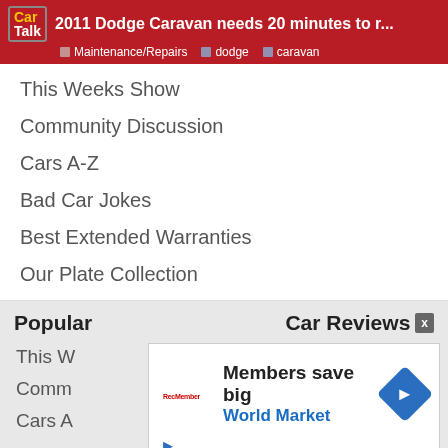2011 Dodge Caravan needs 20 minutes to r... | Maintenance/Repairs | dodge | caravan
This Weeks Show
Community Discussion
Cars A-Z
Bad Car Jokes
Best Extended Warranties
Our Plate Collection
Popular
Car Reviews X
This W...
Comm...
Cars A...
[Figure (screenshot): Advertisement overlay showing 'Members save big' and 'World Market' with a blue diamond arrow icon and a RecMember logo]